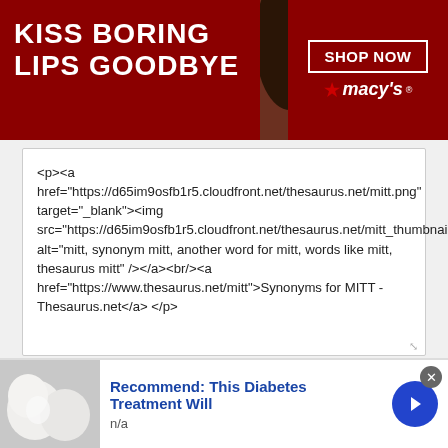[Figure (screenshot): Macy's advertisement banner: dark red background, woman's face with red lips in center, 'KISS BORING LIPS GOODBYE' text on left, 'SHOP NOW' button and Macy's logo on right]
<p><a href="https://d65im9osfb1r5.cloudfront.net/thesaurus.net/mitt.png" target="_blank"><img src="https://d65im9osfb1r5.cloudfront.net/thesaurus.net/mitt_thumbnail.png" alt="mitt, synonym mitt, another word for mitt, words like mitt, thesaurus mitt" /></a><br/><a href="https://www.thesaurus.net/mitt">Synonyms for MITT - Thesaurus.net</a> </p>
[Figure (screenshot): Website footer navigation with Home, FAQ, About links and Facebook and Twitter social buttons]
DomainOptions, Inc., 7260 W Azure Dr Ste 140-829, Las Vegas, NV 89130 USA.
Email: info@domainoptions.net
[Figure (screenshot): Advertisement: 'Recommend: This Diabetes Treatment Will' with image of white eggs/pearls on left and blue arrow button on right]